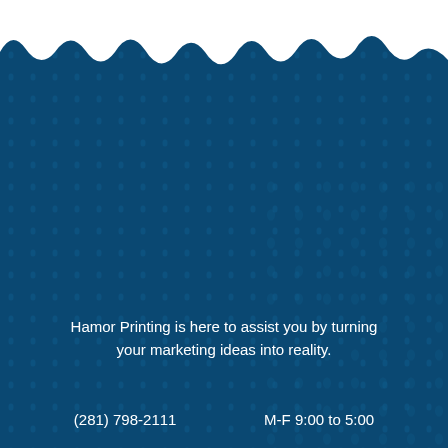[Figure (illustration): Dark navy/teal blue background with a subtle dot/halftone pattern throughout, and a torn white paper effect at the top revealing the blue background beneath.]
Hamor Printing is here to assist you by turning your marketing ideas into reality.
(281) 798-2111    M-F 9:00 to 5:00